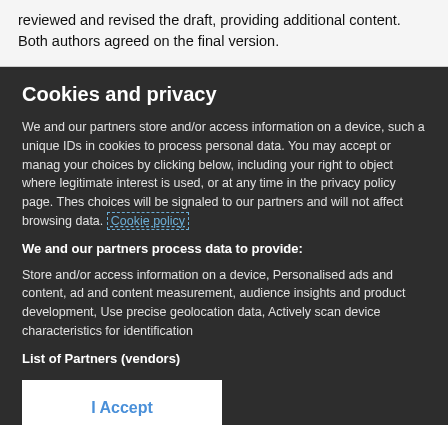reviewed and revised the draft, providing additional content. Both authors agreed on the final version.
Cookies and privacy
We and our partners store and/or access information on a device, such a unique IDs in cookies to process personal data. You may accept or manage your choices by clicking below, including your right to object where legitimate interest is used, or at any time in the privacy policy page. These choices will be signaled to our partners and will not affect browsing data. Cookie policy
We and our partners process data to provide:
Store and/or access information on a device, Personalised ads and content, ad and content measurement, audience insights and product development, Use precise geolocation data, Actively scan device characteristics for identification
List of Partners (vendors)
I Accept